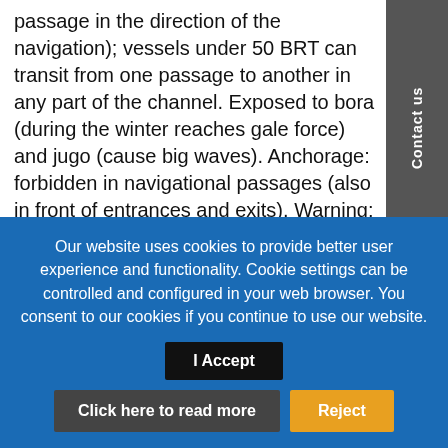passage in the direction of the navigation); vessels under 50 BRT can transit from one passage to another in any part of the channel. Exposed to bora (during the winter reaches gale force) and jugo (cause big waves). Anchorage: forbidden in navigational passages (also in front of entrances and exits). Warning: intensified sea currents; current of tides reaches the speed of around 2.5 knots; during the jugo current speed increases to up to 3 knots; winds effect the direction of the current and cause very strong whirls; middle part of the channel (from the cape Tukljačan to the islet Garmenjak on the NW and from the cove Soline to the cape Studenac on the SE) is navigable
Our website uses cookies to provide better user experience and functionality. Cookie settings can be controlled and configured in your web browser. You consent to our cookies if you continue to use our website.
I Accept
Click here to read more
Reject